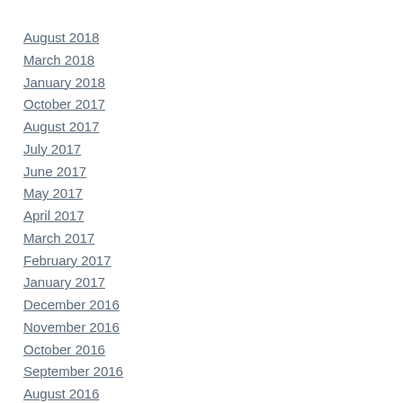August 2018
March 2018
January 2018
October 2017
August 2017
July 2017
June 2017
May 2017
April 2017
March 2017
February 2017
January 2017
December 2016
November 2016
October 2016
September 2016
August 2016
July 2016